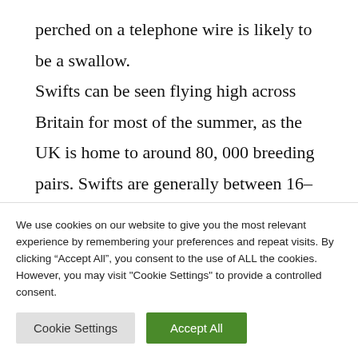perched on a telephone wire is likely to be a swallow.

Swifts can be seen flying high across Britain for most of the summer, as the UK is home to around 80, 000 breeding pairs. Swifts are generally between 16–18cm in length, with a wingspan of
We use cookies on our website to give you the most relevant experience by remembering your preferences and repeat visits. By clicking "Accept All", you consent to the use of ALL the cookies. However, you may visit "Cookie Settings" to provide a controlled consent.